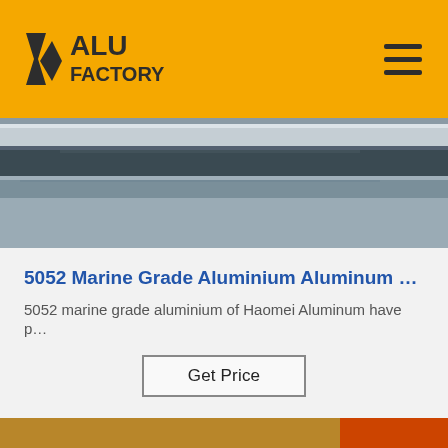ALU FACTORY
[Figure (photo): Stack of aluminium/aluminum sheets and plates stored in a warehouse, showing metallic gray surface texture]
5052 Marine Grade Aluminium Aluminum …
5052 marine grade aluminium of Haomei Aluminum have p…
Get Price
[Figure (photo): Industrial machinery with rollers, pipes, metal parts and mechanical components, orange painted equipment visible on right]